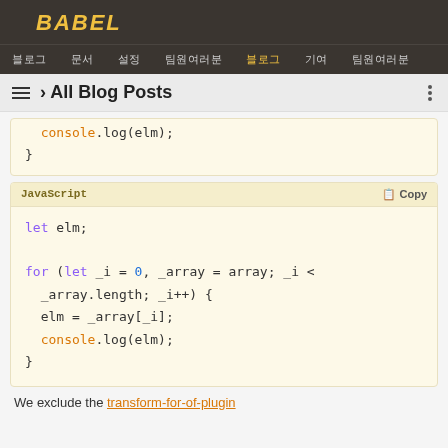BABEL
블로그 | 문서 | 설정 | 팀원여러분 | 블로그 | 기여 | 팀원여러분
≡ › All Blog Posts
console.log(elm);
}
JavaScript  📋 Copy

let elm;

for (let _i = 0, _array = array; _i <
_array.length; _i++) {
  elm = _array[_i];
  console.log(elm);
}
We exclude the ...